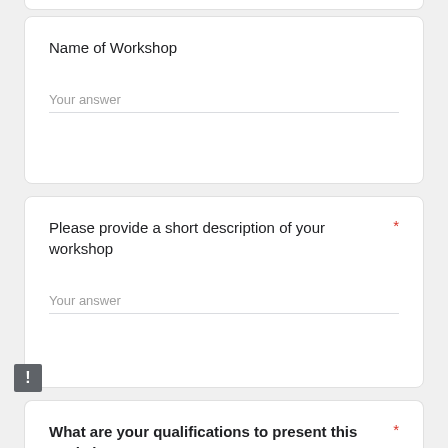Name of Workshop
Your answer
Please provide a short description of your workshop *
Your answer
What are your qualifications to present this workshop? *
Practical experience experience is equal to degree obtained